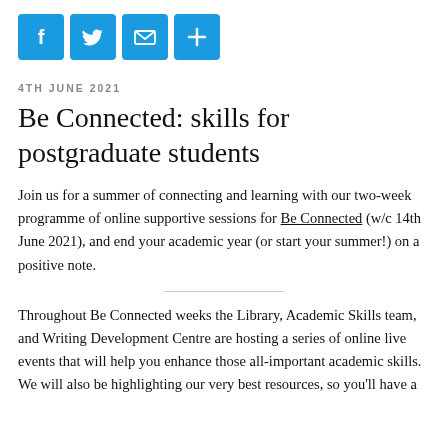[Figure (other): Social media sharing icons: Facebook, Twitter, Email, Share (plus sign), all in blue rounded squares]
4TH JUNE 2021
Be Connected: skills for postgraduate students
Join us for a summer of connecting and learning with our two-week programme of online supportive sessions for Be Connected (w/c 14th June 2021), and end your academic year (or start your summer!) on a positive note.
Throughout Be Connected weeks the Library, Academic Skills team, and Writing Development Centre are hosting a series of online live events that will help you enhance those all-important academic skills. We will also be highlighting our very best resources, so you'll have a